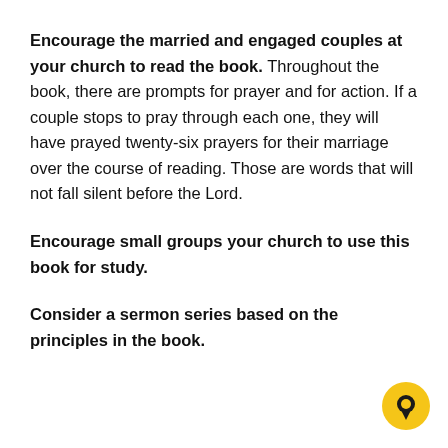Encourage the married and engaged couples at your church to read the book. Throughout the book, there are prompts for prayer and for action. If a couple stops to pray through each one, they will have prayed twenty-six prayers for their marriage over the course of reading. Those are words that will not fall silent before the Lord.
Encourage small groups your church to use this book for study.
Consider a sermon series based on the principles in the book.
[Figure (illustration): Yellow circular chat/message bubble icon in the bottom-right corner]